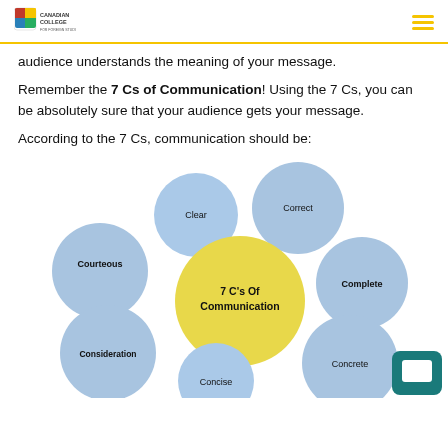Canadian College for Foreign Studies
audience understands the meaning of your message.
Remember the 7 Cs of Communication! Using the 7 Cs, you can be absolutely sure that your audience gets your message.
According to the 7 Cs, communication should be:
[Figure (infographic): Bubble diagram showing the 7 C's of Communication. A central yellow circle labeled '7 C's Of Communication' is surrounded by 7 blue circles labeled: Clear, Correct, Complete, Concrete, Concise, Consideration, Courteous.]